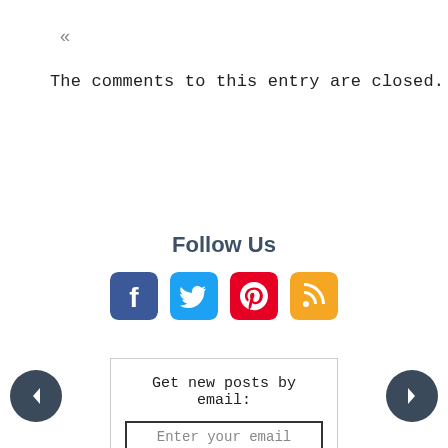«
The comments to this entry are closed.
Follow Us
[Figure (infographic): Four social media icon buttons: Facebook (blue), Twitter (cyan/blue), Pinterest (red), RSS (orange)]
Get new posts by email:
Enter your email
[Figure (infographic): Left navigation arrow button (dark circle with left-pointing arrow)]
[Figure (infographic): Right navigation arrow button (dark circle with right-pointing arrow)]